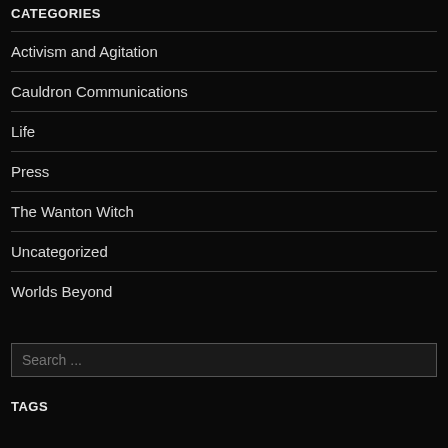CATEGORIES
Activism and Agitation
Cauldron Communications
Life
Press
The Wanton Witch
Uncategorized
Worlds Beyond
Search ...
TAGS